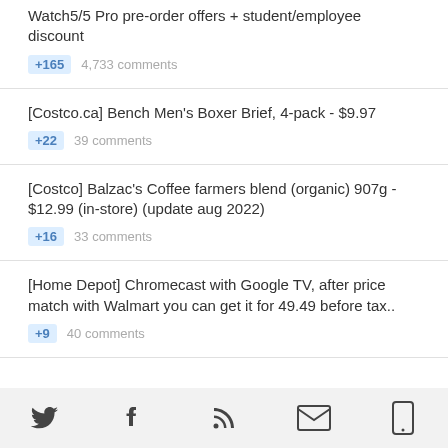Watch5/5 Pro pre-order offers + student/employee discount
+165  4,733 comments
[Costco.ca] Bench Men's Boxer Brief, 4-pack - $9.97
+22  39 comments
[Costco] Balzac's Coffee farmers blend (organic) 907g - $12.99 (in-store) (update aug 2022)
+16  33 comments
[Home Depot] Chromecast with Google TV, after price match with Walmart you can get it for 49.49 before tax..
+9  40 comments